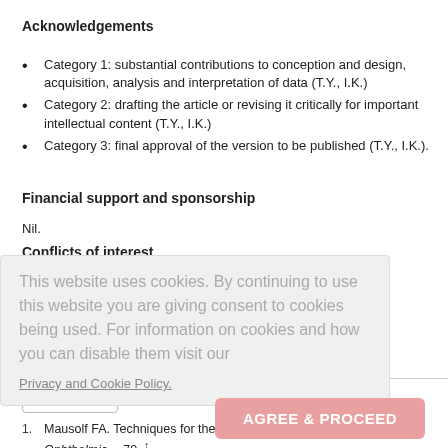Acknowledgements
Category 1: substantial contributions to conception and design, acquisition, analysis and interpretation of data (T.Y., I.K.)
Category 2: drafting the article or revising it critically for important intellectual content (T.Y., I.K.)
Category 3: final approval of the version to be published (T.Y., I.K.).
Financial support and sponsorship
Nil.
Conflicts of interest
There are no conflicts of interest.
References
Mausolf FA. Techniques for the repair of orbicularis oculi palsy. Ophthalmic… 70. ↑